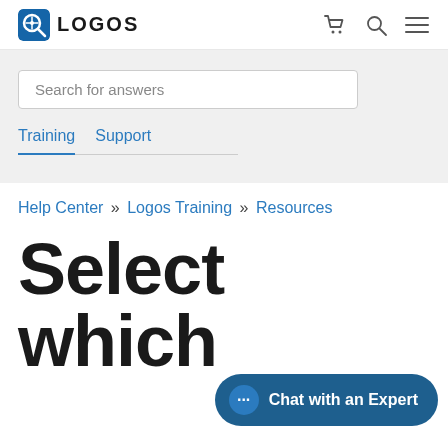[Figure (logo): Logos Bible software logo: blue circular icon with compass/search symbol, followed by bold text LOGOS]
LOGOS (with cart, search, and menu icons)
Search for answers
Training
Support
Help Center » Logos Training » Resources
Select which